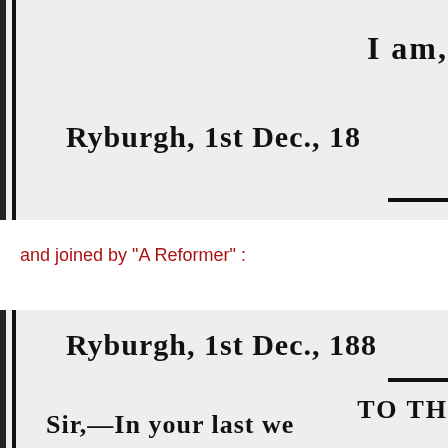[Figure (photo): Scanned newspaper or letter excerpt showing partial text: '...the hands of...', 'I am,' and 'Ryburgh, 1st Dec., 18' with a horizontal rule at bottom right.]
and joined by "A Reformer" :
[Figure (photo): Scanned newspaper or letter excerpt showing 'Ryburgh, 1st Dec., 188' with a horizontal rule, 'TO THE' and 'Sir,—In your last we' partial text.]